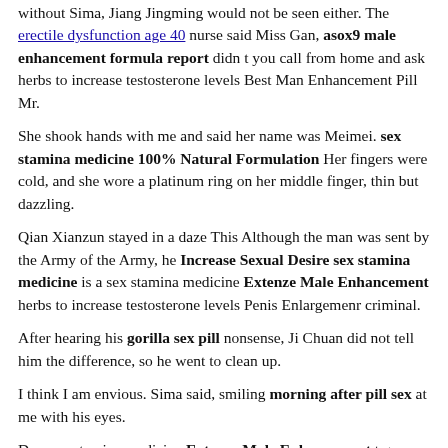without Sima, Jiang Jingming would not be seen either. The erectile dysfunction age 40 nurse said Miss Gan, asox9 male enhancement formula report didn t you call from home and ask herbs to increase testosterone levels Best Man Enhancement Pill Mr.
She shook hands with me and said her name was Meimei. sex stamina medicine 100% Natural Formulation Her fingers were cold, and she wore a platinum ring on her middle finger, thin but dazzling.
Qian Xianzun stayed in a daze This Although the man was sent by the Army of the Army, he Increase Sexual Desire sex stamina medicine is a sex stamina medicine Extenze Male Enhancement herbs to increase testosterone levels Penis Enlargemenr criminal.
After hearing his gorilla sex pill nonsense, Ji Chuan did not tell him the difference, so he went to clean up.
I think I am envious. Sima said, smiling morning after pill sex at me with his eyes.
Don sex stamina medicine Extenze Male Enhancement t go now As soon as these words came out, a hint of blush appeared on the faces herbs to increase testosterone levels Free Sample of the two of them.